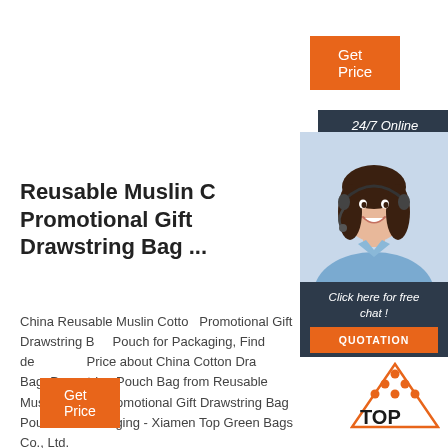Get Price
24/7 Online
[Figure (photo): Customer service woman with headset smiling]
Click here for free chat!
QUOTATION
Reusable Muslin Cotton Promotional Gift Drawstring Bag ...
China Reusable Muslin Cotton Promotional Gift Drawstring Bag Pouch for Packaging, Find details and Price about China Cotton Drawstring Bag, Drawstring Pouch Bag from Reusable Muslin Cotton Promotional Gift Drawstring Bag Pouch for Packaging - Xiamen Top Green Bags Co., Ltd.
[Figure (logo): TOP logo with orange dots forming triangle over triangle outline, with text TOP]
Get Price